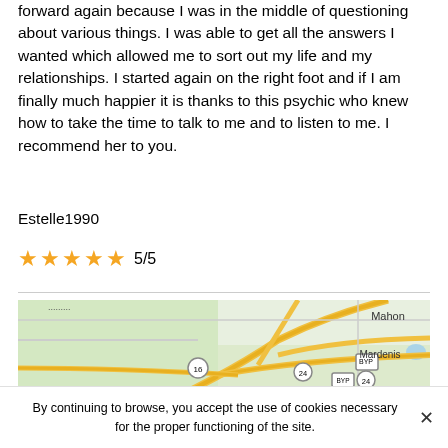forward again because I was in the middle of questioning about various things. I was able to get all the answers I wanted which allowed me to sort out my life and my relationships. I started again on the right foot and if I am finally much happier it is thanks to this psychic who knew how to take the time to talk to me and to listen to me. I recommend her to you.
Estelle1990
★★★★★ 5/5
[Figure (map): Google Maps view showing road intersections near Huntington, with routes 16 and 24, and labels for Mahon, Mardenis, Bowerstown, and Huntington area.]
By continuing to browse, you accept the use of cookies necessary for the proper functioning of the site.